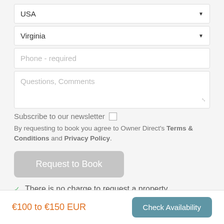USA (dropdown)
Virginia (dropdown)
Phone - required
Questions, Comments
Subscribe to our newsletter
By requesting to book you agree to Owner Direct's Terms & Conditions and Privacy Policy.
Request to Book
There is no charge to request a property.
There is no requirement to book.
€100 to €150 EUR
Check Availability